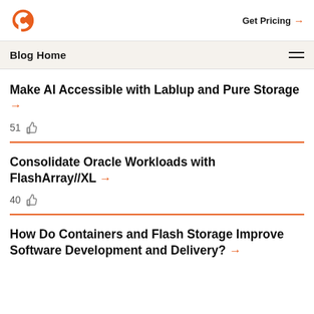Get Pricing →
Blog Home
Make AI Accessible with Lablup and Pure Storage →
51 👍
Consolidate Oracle Workloads with FlashArray//XL →
40 👍
How Do Containers and Flash Storage Improve Software Development and Delivery? →